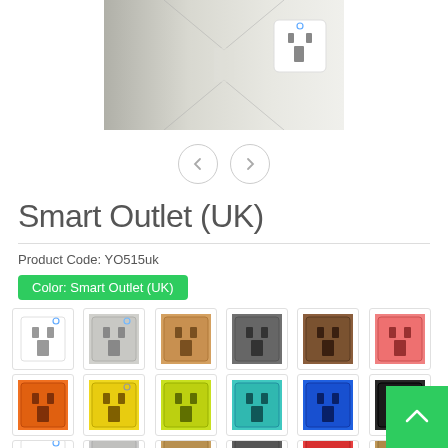[Figure (photo): Product photo showing a hallway with a UK smart outlet wall socket mounted on white wall, showing white smart outlet with small blue indicator dot]
[Figure (other): Navigation arrows: left chevron and right chevron in circular outline buttons]
Smart Outlet (UK)
Product Code: YO515uk
Color: Smart Outlet (UK)
[Figure (photo): Grid of UK smart outlet color variants: white, silver/grey, gold/copper, dark grey, brown, pink (row 1); orange, yellow, lime green, teal/cyan, blue, black (row 2); partial row 3 visible with white and other variants]